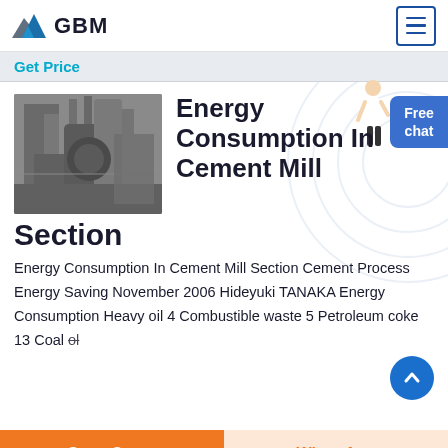GBM
Get Price
Energy Consumption In Cement Mill Section
[Figure (photo): Black and white photo of industrial cement mill equipment with large cylindrical machines and metal structures in a factory setting]
Energy Consumption In Cement Mill Section Cement Process Energy Saving November 2006 Hideyuki TANAKA Energy Consumption Heavy oil 4 Combustible waste 5 Petroleum coke 13 Coal ol
Get a Quote | WhatsApp